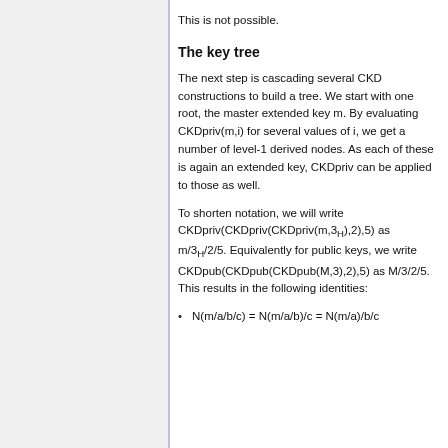This is not possible.
The key tree
The next step is cascading several CKD constructions to build a tree. We start with one root, the master extended key m. By evaluating CKDpriv(m,i) for several values of i, we get a number of level-1 derived nodes. As each of these is again an extended key, CKDpriv can be applied to those as well.
To shorten notation, we will write CKDpriv(CKDpriv(CKDpriv(m,3H),2),5) as m/3H/2/5. Equivalently for public keys, we write CKDpub(CKDpub(CKDpub(M,3),2),5) as M/3/2/5. This results in the following identities:
N(m/a/b/c) = N(m/a/b)/c = N(m/a)/b/c